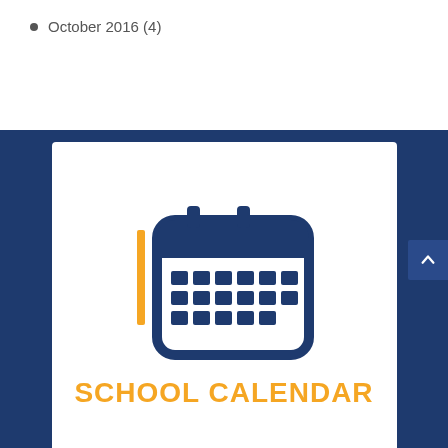October 2016 (4)
[Figure (illustration): School calendar icon with a blue calendar graphic showing a grid of squares representing days, with a gold vertical bar on the left side, on a white card with dark blue background. Below the icon is the text 'SCHOOL CALENDAR' in bold gold letters.]